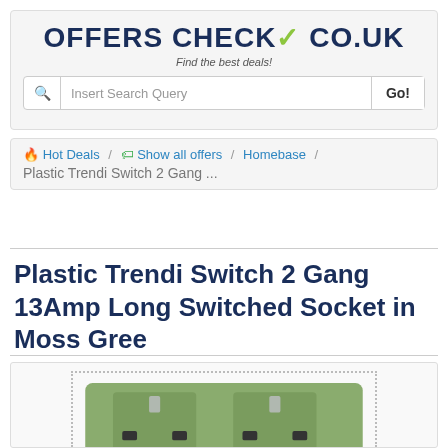OFFERSCHECK.CO.UK - Find the best deals!
Hot Deals / Show all offers / Homebase / Plastic Trendi Switch 2 Gang ...
Plastic Trendi Switch 2 Gang 13Amp Long Switched Socket in Moss Gree
[Figure (photo): Moss green plastic 2-gang switched socket (Trendi Switch), partially visible, shown against white background with dotted border frame]